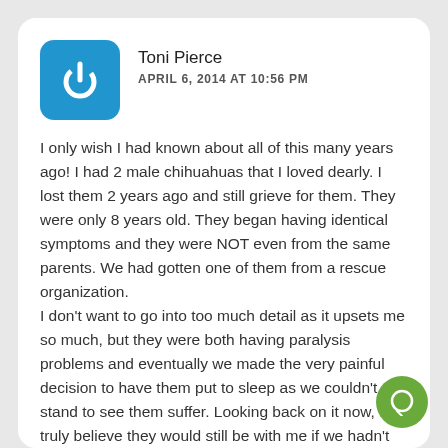[Figure (logo): Blue rounded square avatar with a white power button / circle-arrow icon]
Toni Pierce
APRIL 6, 2014 AT 10:56 PM
I only wish I had known about all of this many years ago! I had 2 male chihuahuas that I loved dearly. I lost them 2 years ago and still grieve for them. They were only 8 years old. They began having identical symptoms and they were NOT even from the same parents. We had gotten one of them from a rescue organization.
I don't want to go into too much detail as it upsets me so much, but they were both having paralysis problems and eventually we made the very painful decision to have them put to sleep as we couldn't stand to see them suffer. Looking back on it now, I truly believe they would still be with me if we hadn't let the Vets